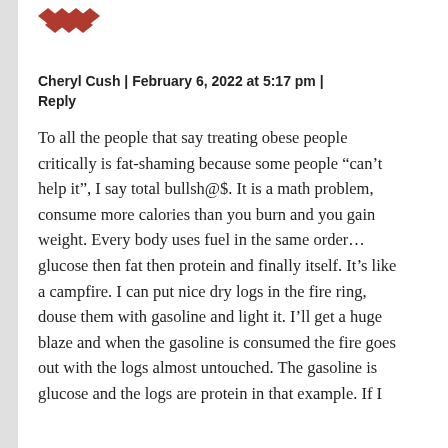[Figure (logo): Decorative avatar icon with red diamond/geometric shapes arranged in a pattern]
Cheryl Cush | February 6, 2022 at 5:17 pm | Reply
To all the people that say treating obese people critically is fat-shaming because some people “can’t help it”, I say total bullsh@$. It is a math problem, consume more calories than you burn and you gain weight. Every body uses fuel in the same order… glucose then fat then protein and finally itself. It’s like a campfire. I can put nice dry logs in the fire ring, douse them with gasoline and light it. I’ll get a huge blaze and when the gasoline is consumed the fire goes out with the logs almost untouched. The gasoline is glucose and the logs are protein in that example. If I